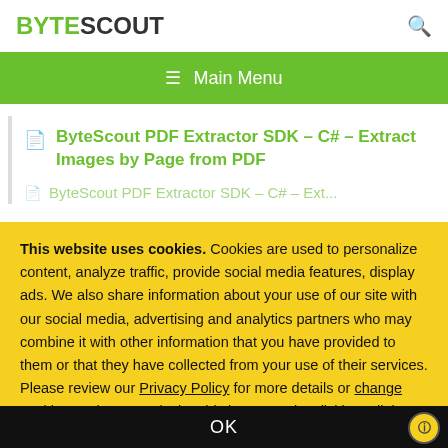BYTESCOUT
≡  Main Menu
ByteScout PDF Extractor SDK – C# – Extract Images by Page from PDF
This website uses cookies. Cookies are used to personalize content, analyze traffic, provide social media features, display ads. We also share information about your use of our site with our social media, advertising and analytics partners who may combine it with other information that you have provided to them or that they have collected from your use of their services. Please review our Privacy Policy for more details or change cookies settings. By closing this banner or by clicking a link or continuing to browse otherwise, you consent to our cookies.
OK